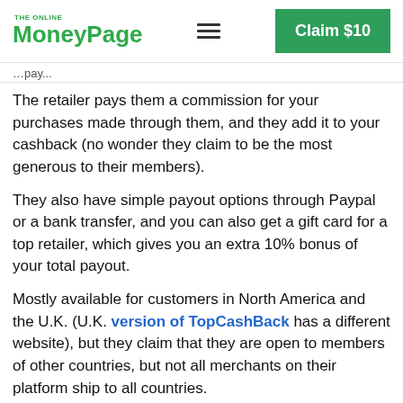The Online MoneyPage — Claim $10
pay...
The retailer pays them a commission for your purchases made through them, and they add it to your cashback (no wonder they claim to be the most generous to their members).
They also have simple payout options through Paypal or a bank transfer, and you can also get a gift card for a top retailer, which gives you an extra 10% bonus of your total payout.
Mostly available for customers in North America and the U.K. (U.K. version of TopCashBack has a different website), but they claim that they are open to members of other countries, but not all merchants on their platform ship to all countries.